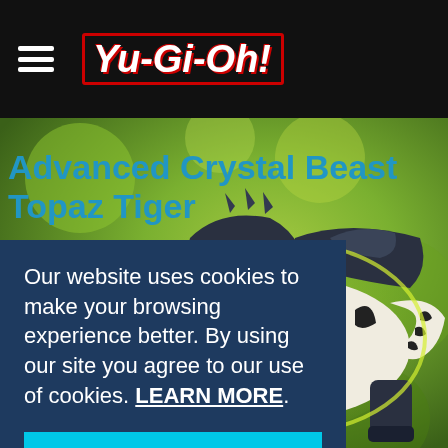Yu-Gi-Oh! navigation bar with hamburger menu and logo
Advanced Crystal Beast Topaz Tiger
[Figure (illustration): Anime-style illustration of Advanced Crystal Beast Topaz Tiger — a large white tiger with black stripes, glowing yellow-green aura, and dark armored accents, set against a green bokeh background]
Our website uses cookies to make your browsing experience better. By using our site you agree to our use of cookies. LEARN MORE.
Accept